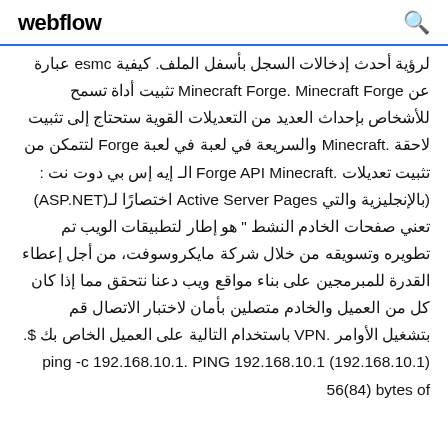webflow  🔍
لرؤية أحدث إدخالات السجل بأسفل الملف. كيفية esmc عبارة عن Minecraft Forge. Minecraft Forge تثبيت أداة تسمح للأشخاص بإحداث العديد من التعديلات القوية ستحتاج إلى تثبيت لاحقة Minecraft. والسريعة في لعبة في لعبة Forge لتتمكن من تثبيت تعديلات Forge API Minecraft. الـ إيه إس بي دوت نت :(بالإنجليزية والتي Active Server Pages اختصارًا لـ(ASP.NET تعني صفحات الخادم النشط " هو إطار لتطبيقات الويب تم تطويره وتسويقه من خلال شركة مايكروسوفت، من أجل إعطاء القدرة للمبرمجين على بناء مواقع ويب دعنا نتحقق مما إذا كان كل من العميل والخادم متصلين بأمان لاختبار الاتصال قم بتشغيل الأوامر VPN. باستخدام التالية على العميل الخاص بك .$ ping -c 192.168.10.1. PING 192.168.10.1 (192.168.10.1) 56(84) bytes of